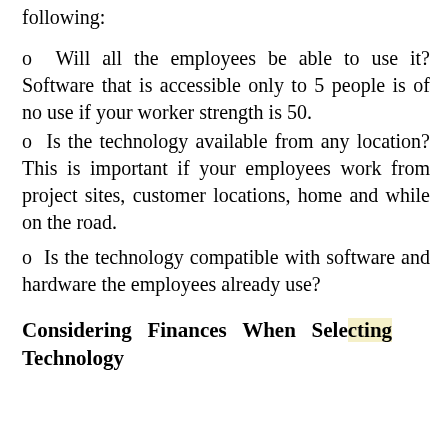following:
o Will all the employees be able to use it? Software that is accessible only to 5 people is of no use if your worker strength is 50.
o Is the technology available from any location? This is important if your employees work from project sites, customer locations, home and while on the road.
o Is the technology compatible with software and hardware the employees already use?
Considering Finances When Selecting Technology